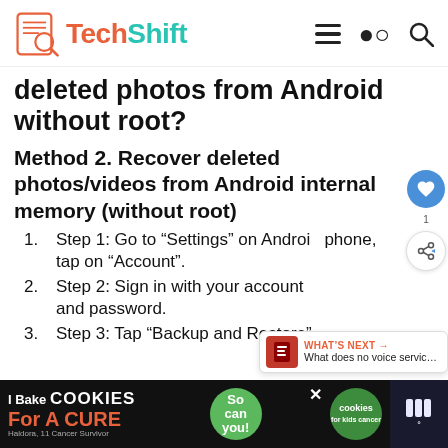TechShift
deleted photos from Android without root?
Method 2. Recover deleted photos/videos from Android internal memory (without root)
Step 1: Go to “Settings” on Android phone, tap on “Account”.
Step 2: Sign in with your account and password.
Step 3: Tap “Backup and Restore”,
[Figure (screenshot): Ad banner at bottom: 'I Bake COOKIES For A CURE' with green 'So can you!' button and cookies image]